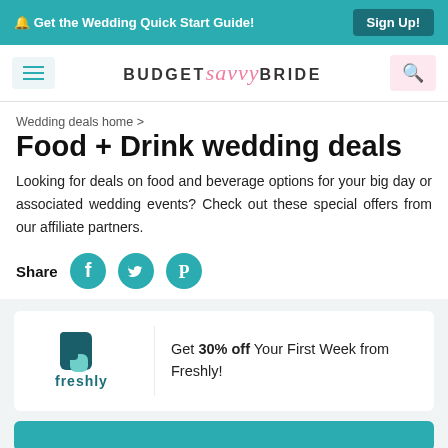🔔 Get the Wedding Quick Start Guide! | Sign Up!
BUDGET savvy BRIDE
Wedding deals home >
Food + Drink wedding deals
Looking for deals on food and beverage options for your big day or associated wedding events? Check out these special offers from our affiliate partners.
Share
Get 30% off Your First Week from Freshly!